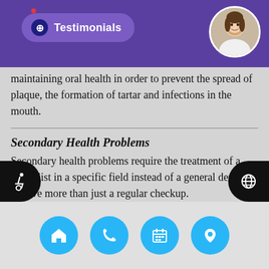Testimonials
maintaining oral health in order to prevent the spread of plaque, the formation of tartar and infections in the mouth.
Secondary Health Problems
Secondary health problems require the treatment of a specialist in a specific field instead of a general dentist to receive more than just a regular checkup.
Tartar
Tartar forms when plaque builds up on the surface of the teeth and calcifies into a hard surface that is much